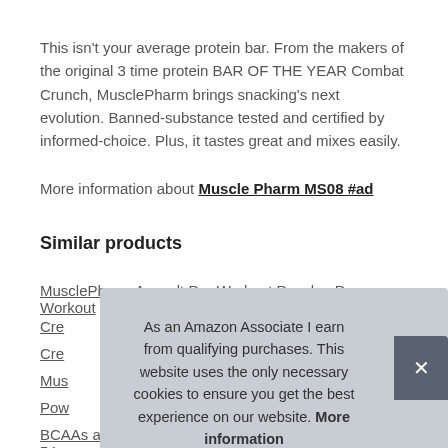This isn't your average protein bar. From the makers of the original 3 time protein BAR OF THE YEAR Combat Crunch, MusclePharm brings snacking's next evolution. Banned-substance tested and certified by informed-choice. Plus, it tastes great and mixes easily.
More information about Muscle Pharm MS08 #ad
Similar products
MusclePharm Assault Pre-Workout Powder, Pre-Workout
Cre...
Cre...
Mus...
Pow...
BCAAs and Glutamine for Recovery, Vanilla, 4-Pound, 54
As an Amazon Associate I earn from qualifying purchases. This website uses the only necessary cookies to ensure you get the best experience on our website. More information